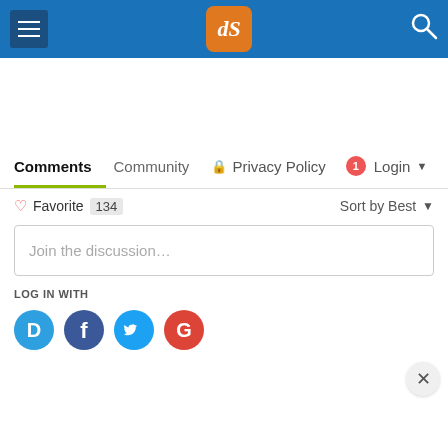[Figure (screenshot): Website navigation header with hamburger menu, dPS logo, and search icon on a blue background]
Comments  Community  Privacy Policy  1  Login
Favorite  134  Sort by Best
Join the discussion…
LOG IN WITH
[Figure (logo): Social login icons: Disqus (D), Facebook (f), Twitter bird, Google (G)]